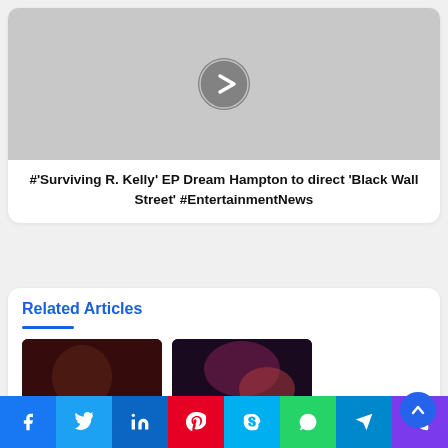[Figure (other): Video thumbnail placeholder with gray background and a play/next arrow button circle in the center]
#'Surviving R. Kelly' EP Dream Hampton to direct 'Black Wall Street' #EntertainmentNews
Related Articles
[Figure (photo): Two related article thumbnail images side by side - left shows dark reddish-toned photo, right shows dark purple-toned photo]
Social share bar: Facebook, Twitter, LinkedIn, Pinterest, Skype, WhatsApp, Telegram, Phone